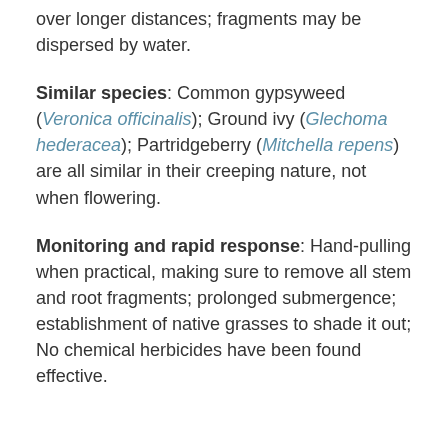over longer distances; fragments may be dispersed by water.
Similar species: Common gypsyweed (Veronica officinalis); Ground ivy (Glechoma hederacea); Partridgeberry (Mitchella repens) are all similar in their creeping nature, not when flowering.
Monitoring and rapid response: Hand-pulling when practical, making sure to remove all stem and root fragments; prolonged submergence; establishment of native grasses to shade it out; No chemical herbicides have been found effective.